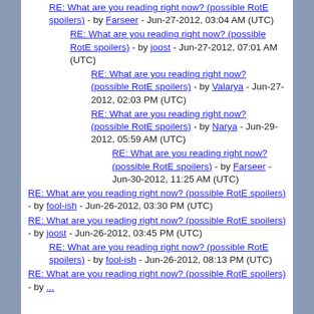RE: What are you reading right now? (possible RotE spoilers) - by Farseer - Jun-27-2012, 03:04 AM (UTC)
RE: What are you reading right now? (possible RotE spoilers) - by joost - Jun-27-2012, 07:01 AM (UTC)
RE: What are you reading right now? (possible RotE spoilers) - by Valarya - Jun-27-2012, 02:03 PM (UTC)
RE: What are you reading right now? (possible RotE spoilers) - by Narya - Jun-29-2012, 05:59 AM (UTC)
RE: What are you reading right now? (possible RotE spoilers) - by Farseer - Jun-30-2012, 11:25 AM (UTC)
RE: What are you reading right now? (possible RotE spoilers) - by fool-ish - Jun-26-2012, 03:30 PM (UTC)
RE: What are you reading right now? (possible RotE spoilers) - by joost - Jun-26-2012, 03:45 PM (UTC)
RE: What are you reading right now? (possible RotE spoilers) - by fool-ish - Jun-26-2012, 08:13 PM (UTC)
RE: What are you reading right now? (possible RotE spoilers) - by ...